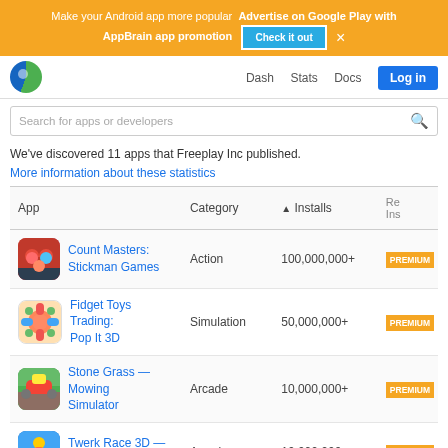Make your Android app more popular  Advertise on Google Play with AppBrain app promotion  [Check it out]  ×
Dash  Stats  Docs  Log in
Search for apps or developers
We've discovered 11 apps that Freeplay Inc published.
More information about these statistics
| App | Category | ▲ Installs | Re Ins |
| --- | --- | --- | --- |
| Count Masters: Stickman Games | Action | 100,000,000+ | PREMIUM |
| Fidget Toys Trading: Pop It 3D | Simulation | 50,000,000+ | PREMIUM |
| Stone Grass — Mowing Simulator | Arcade | 10,000,000+ | PREMIUM |
| Twerk Race 3D — Running Game | Arcade | 10,000,000+ | PREMIUM |